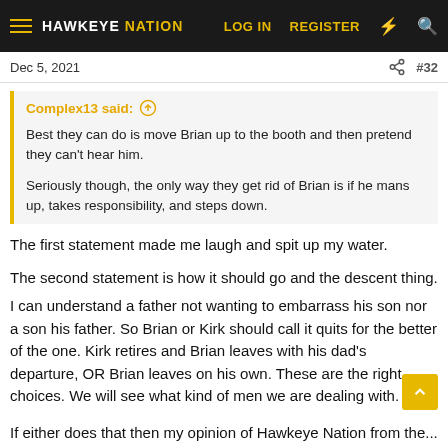HAWKEYE NATION — LOG IN  REGISTER
Dec 5, 2021  #32
Complex13 said: ↑
Best they can do is move Brian up to the booth and then pretend they can't hear him.
Seriously though, the only way they get rid of Brian is if he mans up, takes responsibility, and steps down.
The first statement made me laugh and spit up my water.
The second statement is how it should go and the descent thing.
I can understand a father not wanting to embarrass his son nor a son his father. So Brian or Kirk should call it quits for the better of the one. Kirk retires and Brian leaves with his dad's departure, OR Brian leaves on his own. These are the right choices. We will see what kind of men we are dealing with.